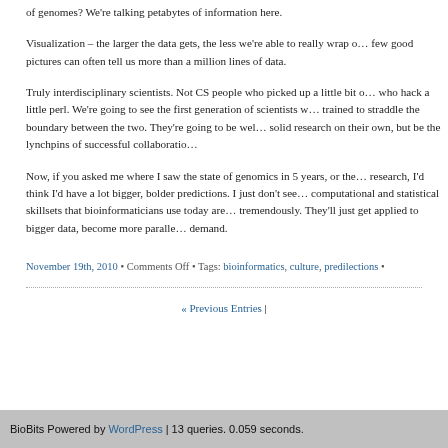of genomes? We're talking petabytes of information here.
Visualization – the larger the data gets, the less we're able to really wrap our heads around it. A few good pictures can often tell us more than a million lines of data.
Truly interdisciplinary scientists. Not CS people who picked up a little bit of biology, or biologists who hack a little perl. We're going to see the first generation of scientists who were specifically trained to straddle the boundary between the two. They're going to be well rounded enough to do solid research on their own, but be the lynchpins of successful collaborations.
Now, if you asked me where I saw the state of genomics in 5 years, or the future of bioinformatics research, I'd think I'd have a lot bigger, bolder predictions. I just don't see it happening. The computational and statistical skillsets that bioinformaticians use today are not going to change tremendously. They'll just get applied to bigger data, become more parallelized, and be in greater demand.
November 19th, 2010 • Comments Off • Tags: bioinformatics, culture, predilections •
« Previous Entries |
BioBits Powered by WordPress | 13 queries. 0.059 seconds.